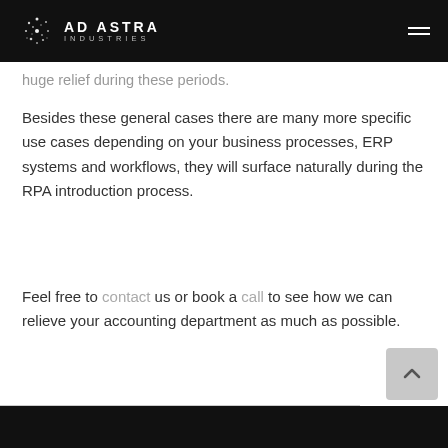AD ASTRA INDUSTRIES
huge relief during these periods.
Besides these general cases there are many more specific use cases depending on your business processes, ERP systems and workflows, they will surface naturally during the RPA introduction process.
Feel free to contact us or book a call to see how we can relieve your accounting department as much as possible.